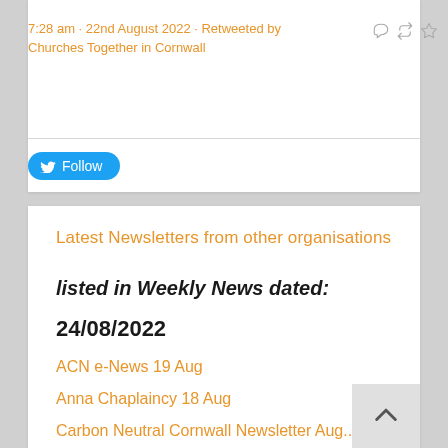7:28 am · 22nd August 2022 · Retweeted by Churches Together in Cornwall
Follow
Latest Newsletters from other organisations
listed in Weekly News dated:
24/08/2022
ACN e-News 19 Aug
Anna Chaplaincy 18 Aug
Carbon Neutral Cornwall Newsletter Aug...